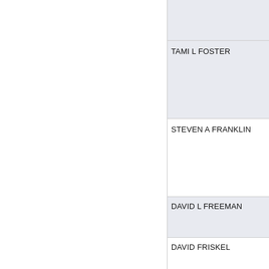| Name |
| --- |
| TAMI L FOSTER |
| STEVEN A FRANKLIN |
| DAVID L FREEMAN |
| DAVID FRISKEL |
| ROBERT F FROBENIUS |
| JOHN D FROWNFELTER |
| DAVID E FUQUA |
| ZIGGIE GABRIEL |